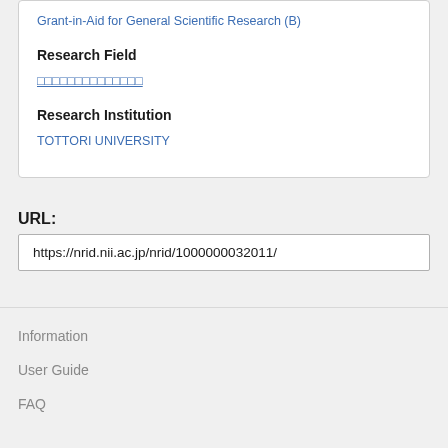Grant-in-Aid for General Scientific Research (B)
Research Field
□□□□□□□□□□□□□□
Research Institution
TOTTORI UNIVERSITY
URL:
https://nrid.nii.ac.jp/nrid/1000000032011/
Information
User Guide
FAQ